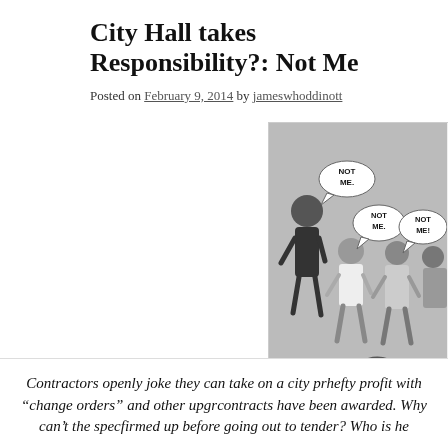City Hall takes Responsibility?: Not Me
Posted on February 9, 2014 by jameswhoddinott
[Figure (illustration): Black and white cartoon showing an adult figure and several children, each with speech bubbles saying 'NOT ME.' and 'NOT ME!']
City Hall Gives Answers
Contractors openly joke they can take on a city pr... hefty profit with “change orders” and other upgr... contracts have been awarded. Why can’t the spec... firmed up before going out to tender? Who is he...